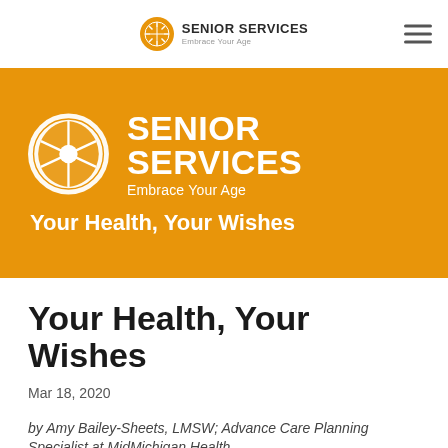SENIOR SERVICES Embrace Your Age
[Figure (logo): Senior Services logo with sun/flower emblem, text SENIOR SERVICES and tagline Embrace Your Age, with Your Health, Your Wishes subtitle on orange background]
Your Health, Your Wishes
Mar 18, 2020
by Amy Bailey-Sheets, LMSW; Advance Care Planning Specialist at MidMichigan Health